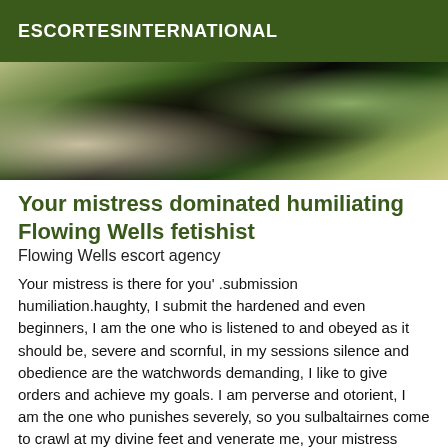ESCORTESINTERNATIONAL
[Figure (photo): Partial photo showing a darkened scene with fabric or bedding in green and beige tones, with a dark silhouette in the center.]
Your mistress dominated humiliating Flowing Wells fetishist
Flowing Wells escort agency
Your mistress is there for you' .submission humiliation.haughty, I submit the hardened and even beginners, I am the one who is listened to and obeyed as it should be, severe and scornful, in my sessions silence and obedience are the watchwords demanding, I like to give orders and achieve my goals. I am perverse and otorient, I am the one who punishes severely, so you sulbaltairnes come to crawl at my divine feet and venerate me, your mistress educates you and demeans you like a dog, you will belong to me in a word, respect